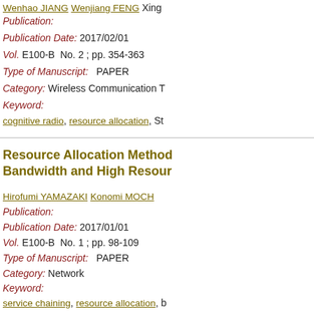Wenhao JIANG  Wenjiang FENG  Xing...
Publication:
Publication Date: 2017/02/01
Vol. E100-B  No. 2 ; pp. 354-363
Type of Manuscript:  PAPER
Category: Wireless Communication T...
Keyword:
cognitive radio ,  resource allocation ,  St...
Resource Allocation Method... Bandwidth and High Resour...
Hirofumi YAMAZAKI  Konomi MOCH...
Publication:
Publication Date: 2017/01/01
Vol. E100-B  No. 1 ; pp. 98-109
Type of Manuscript:  PAPER
Category: Network
Keyword:
service chaining ,  resource allocation ,  b...
Recommendation-Based Ban...
Shohei KAMAMURA  Rie HAYASH...